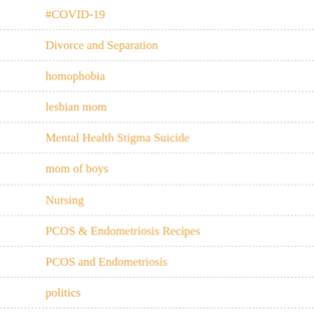#COVID-19
Divorce and Separation
homophobia
lesbian mom
Mental Health Stigma Suicide
mom of boys
Nursing
PCOS & Endometriosis Recipes
PCOS and Endometriosis
politics